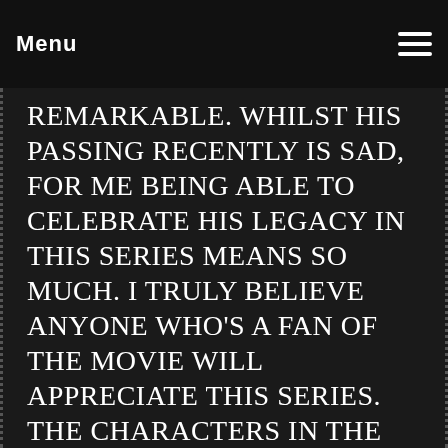Menu
REMARKABLE. Whilst his passing recently is sad, for me being able to celebrate his legacy in this series means so much. I truly believe anyone who's a fan of the movie will appreciate this series. The characters in the sequel are exciting asf as too some super cool Easter eggs that fans will adore.